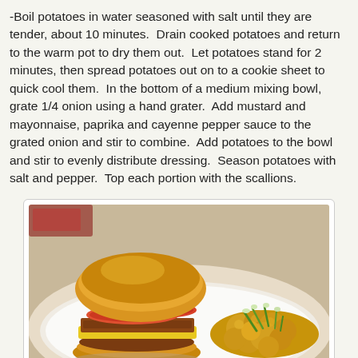-Boil potatoes in water seasoned with salt until they are tender, about 10 minutes. Drain cooked potatoes and return to the warm pot to dry them out. Let potatoes stand for 2 minutes, then spread potatoes out on to a cookie sheet to quick cool them. In the bottom of a medium mixing bowl, grate 1/4 onion using a hand grater. Add mustard and mayonnaise, paprika and cayenne pepper sauce to the grated onion and stir to combine. Add potatoes to the bowl and stir to evenly distribute dressing. Season potatoes with salt and pepper. Top each portion with the scallions.
[Figure (photo): A plate with a sloppy joe style sandwich on a golden bun with tomato slices, yellow cheese, and meat filling on the left, and a side of yellow potato salad topped with green scallions on the right.]